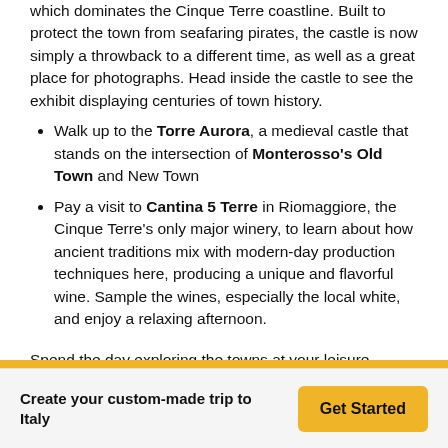which dominates the Cinque Terre coastline. Built to protect the town from seafaring pirates, the castle is now simply a throwback to a different time, as well as a great place for photographs. Head inside the castle to see the exhibit displaying centuries of town history.
Walk up to the Torre Aurora, a medieval castle that stands on the intersection of Monterosso's Old Town and New Town
Pay a visit to Cantina 5 Terre in Riomaggiore, the Cinque Terre's only major winery, to learn about how ancient traditions mix with modern-day production techniques here, producing a unique and flavorful wine. Sample the wines, especially the local white, and enjoy a relaxing afternoon.
Spend the day exploring the towns at your leisure, before heading back to your hotel. If you have a favorite village
Create your custom-made trip to Italy
Get Started